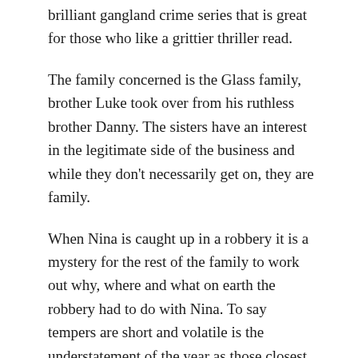brilliant gangland crime series that is great for those who like a grittier thriller read.
The family concerned is the Glass family, brother Luke took over from his ruthless brother Danny. The sisters have an interest in the legitimate side of the business and while they don't necessarily get on, they are family.
When Nina is caught up in a robbery it is a mystery for the rest of the family to work out why, where and what on earth the robbery had to do with Nina. To say tempers are short and volatile is the understatement of the year as those closest to Nina are trying to act as if all is normal. They still have a business and also a reputation to keep going.